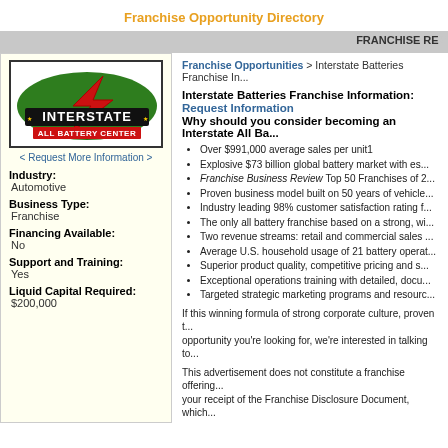Franchise Opportunity Directory
FRANCHISE RE...
[Figure (logo): Interstate All Battery Center logo with red lightning bolt on green oval background]
< Request More Information >
Industry: Automotive
Business Type: Franchise
Financing Available: No
Support and Training: Yes
Liquid Capital Required: $200,000
Franchise Opportunities > Interstate Batteries Franchise In...
Interstate Batteries Franchise Information:
Request Information
Why should you consider becoming an Interstate All Ba...
Over $991,000 average sales per unit1
Explosive $73 billion global battery market with es...
Franchise Business Review Top 50 Franchises of 2...
Proven business model built on 50 years of vehicle...
Industry leading 98% customer satisfaction rating f...
The only all battery franchise based on a strong, wi...
Two revenue streams: retail and commercial sales...
Average U.S. household usage of 21 battery operat...
Superior product quality, competitive pricing and s...
Exceptional operations training with detailed, docu...
Targeted strategic marketing programs and resourc...
If this winning formula of strong corporate culture, proven t... opportunity you're looking for, we're interested in talking to...
This advertisement does not constitute a franchise offering... your receipt of the Franchise Disclosure Document, which...